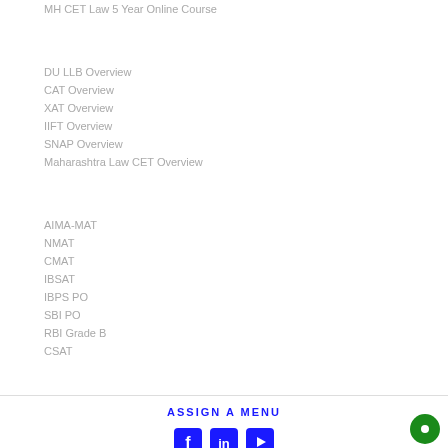MH CET Law 5 Year Online Course
DU LLB Overview
CAT Overview
XAT Overview
IIFT Overview
SNAP Overview
Maharashtra Law CET Overview
AIMA-MAT
NMAT
CMAT
IBSAT
IBPS PO
SBI PO
RBI Grade B
CSAT
ASSIGN A MENU
[Figure (infographic): Social media icons: Facebook, LinkedIn, YouTube in blue square buttons]
PROUDLY MADE WITH LOVE IN INDIA